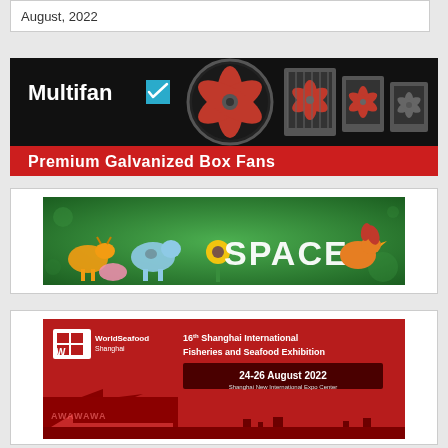August, 2022
[Figure (illustration): Multifan Premium Galvanized Box Fans advertisement — black background with large industrial fan on left and three box fans on right, red banner at bottom reading 'Premium Galvanized Box Fans', Multifan logo and blue checkmark top left.]
[Figure (illustration): SPACE agricultural trade show advertisement — green background with farm animals (goat, cow, pig, chickens, sunflowers, farmer) and large white text 'SPACE' in center.]
[Figure (illustration): WorldSeafood Shanghai — 16th Shanghai International Fisheries and Seafood Exhibition, 24-26 August 2022, Shanghai New International Expo Center. Red background with fish graphics and event details.]